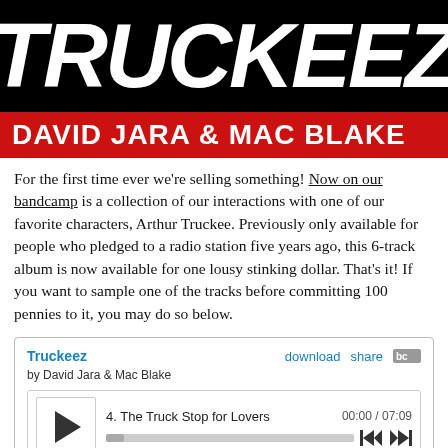[Figure (illustration): Black background with large white bold italic text reading 'TRUCKEEZ' (partial, stylized)]
DAVID JARA & MAC BLAKE
For the first time ever we're selling something! Now on our bandcamp is a collection of our interactions with one of our favorite characters, Arthur Truckee. Previously only available for people who pledged to a radio station five years ago, this 6-track album is now available for one lousy stinking dollar. That's it! If you want to sample one of the tracks before committing 100 pennies to it, you may do so below.
[Figure (screenshot): Bandcamp music player widget showing 'Truckeez' by David Jara & Mac Blake, track 4: The Truck Stop for Lovers, 00:00 / 07:09, with play button and progress bar]